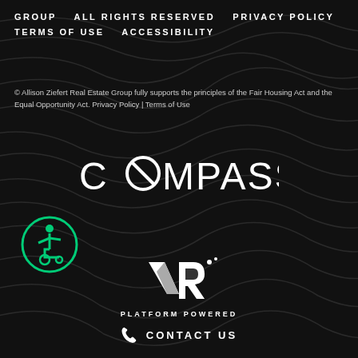GROUP   ALL RIGHTS RESERVED   PRIVACY POLICY   TERMS OF USE   ACCESSIBILITY
© Allison Ziefert Real Estate Group fully supports the principles of the Fair Housing Act and the Equal Opportunity Act. Privacy Policy | Terms of Use
[Figure (logo): COMPASS logo in white text with stylized O containing a diagonal line, on dark background]
[Figure (logo): Accessibility icon - person in wheelchair in green circle]
[Figure (logo): VR Platform Powered logo - white V and R letters with dots, text PLATFORM POWERED below]
CONTACT US